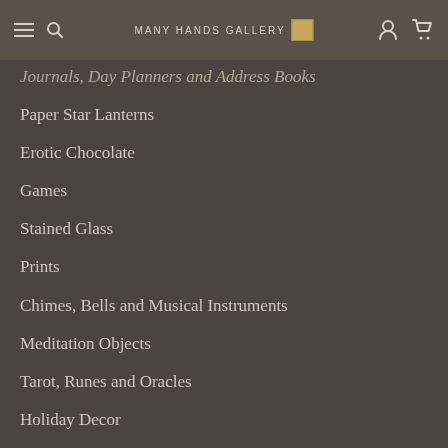Many Hands Gallery
Journals, Day Planners and Address Books
Paper Star Lanterns
Erotic Chocolate
Games
Stained Glass
Prints
Chimes, Bells and Musical Instruments
Meditation Objects
Tarot, Runes and Oracles
Holiday Decor
Holiday Cards
Day Of The Dead
Lamps
Sand Paintings
Be My Valentine!